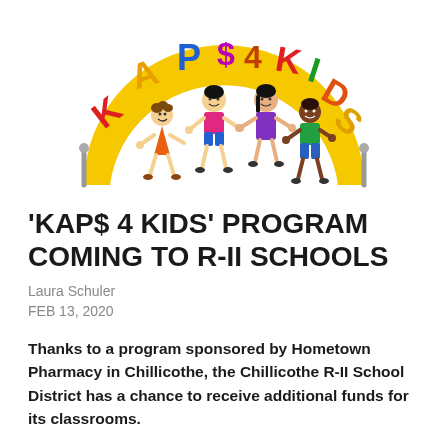[Figure (logo): KAPS 4 KIDS logo showing a colorful semicircular banner with cartoon children holding hands, letters KAP in red/yellow/blue on left and KIDS in green/red/orange on right against a yellow background]
'KAP$ 4 KIDS' PROGRAM COMING TO R-II SCHOOLS
Laura Schuler
FEB 13, 2020
Thanks to a program sponsored by Hometown Pharmacy in Chillicothe, the Chillicothe R-II School District has a chance to receive additional funds for its classrooms.